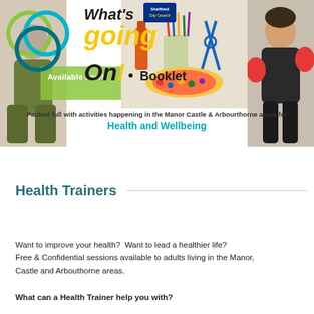[Figure (illustration): What's Going On! Booklet header banner with decorative logo, craft supplies photo, person boxing photo, person sitting photo, teal diagonal shapes, green 'Available now!' banner overlay, Sheffield city council logo]
Packed full with activities happening in the Manor Castle & Arbourthorne areas for Health and Wellbeing
Health Trainers
Want to improve your health?  Want to lead a healthier life? Free & Confidential sessions available to adults living in the Manor, Castle and Arbouthorne areas.
What can a Health Trainer help you with?